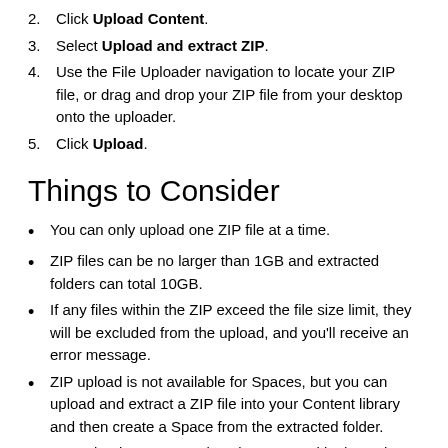2. Click Upload Content.
3. Select Upload and extract ZIP.
4. Use the File Uploader navigation to locate your ZIP file, or drag and drop your ZIP file from your desktop onto the uploader.
5. Click Upload.
Things to Consider
You can only upload one ZIP file at a time.
ZIP files can be no larger than 1GB and extracted folders can total 10GB.
If any files within the ZIP exceed the file size limit, they will be excluded from the upload, and you'll receive an error message.
ZIP upload is not available for Spaces, but you can upload and extract a ZIP file into your Content library and then create a Space from the extracted folder.
ZIP uploads are currently only supported in the web